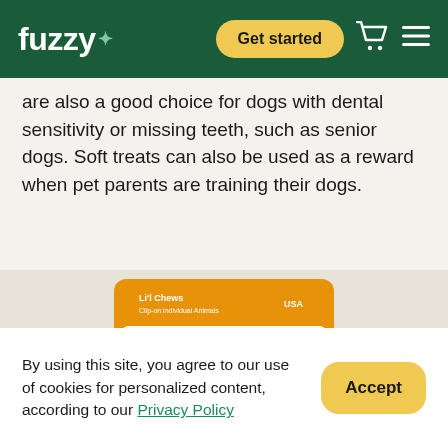fuzzy+ | Get started
are also a good choice for dogs with dental sensitivity or missing teeth, such as senior dogs. Soft treats can also be used as a reward when pet parents are training their dogs.
[Figure (photo): Pet Greens Li'l Treats dog treat package featuring a black and white border collie, with orange header band labeled 'Li'l Chews', Bacon & Cheese Flavor, for Small Dogs, Training, Puppies. Made in USA.]
By using this site, you agree to our use of cookies for personalized content, according to our Privacy Policy
Accept